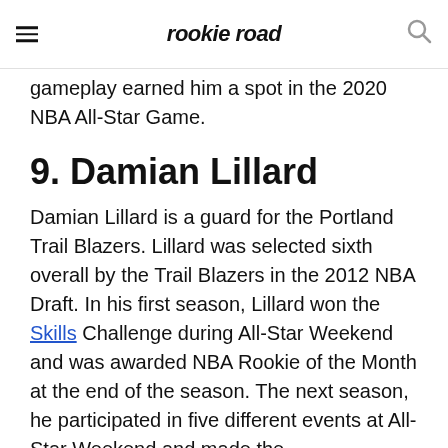rookie road
gameplay earned him a spot in the 2020 NBA All-Star Game.
9. Damian Lillard
Damian Lillard is a guard for the Portland Trail Blazers. Lillard was selected sixth overall by the Trail Blazers in the 2012 NBA Draft. In his first season, Lillard won the Skills Challenge during All-Star Weekend and was awarded NBA Rookie of the Month at the end of the season. The next season, he participated in five different events at All-Star Weekend and made the